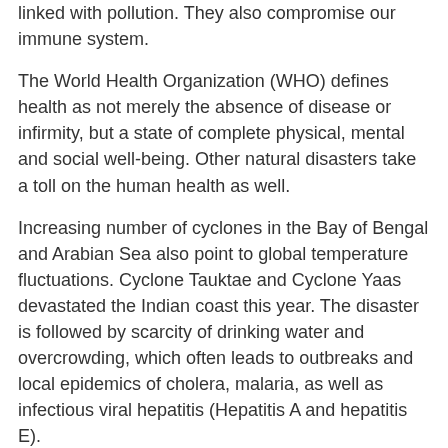linked with pollution. They also compromise our immune system.
The World Health Organization (WHO) defines health as not merely the absence of disease or infirmity, but a state of complete physical, mental and social well-being. Other natural disasters take a toll on the human health as well.
Increasing number of cyclones in the Bay of Bengal and Arabian Sea also point to global temperature fluctuations. Cyclone Tauktae and Cyclone Yaas devastated the Indian coast this year. The disaster is followed by scarcity of drinking water and overcrowding, which often leads to outbreaks and local epidemics of cholera, malaria, as well as infectious viral hepatitis (Hepatitis A and hepatitis E).
Non-communicable diseases
Atherosclerosis is the deposition of fat and formation of plaques in blood vessels, mostly arteries. This compromises blood flow and may ultimately lead to heart attack, stroke, chronic kidney disease, peripheral